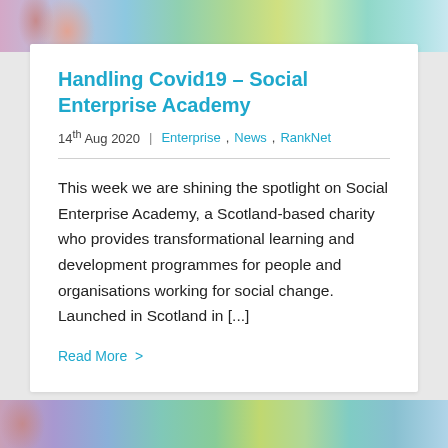[Figure (photo): Colorful banner image at top of page with abstract colored shapes]
Handling Covid19 – Social Enterprise Academy
14th Aug 2020  |  Enterprise, News, RankNet
This week we are shining the spotlight on Social Enterprise Academy, a Scotland-based charity who provides transformational learning and development programmes for people and organisations working for social change. Launched in Scotland in [...]
Read More >
[Figure (photo): Colorful banner image at bottom of page with abstract colored shapes]